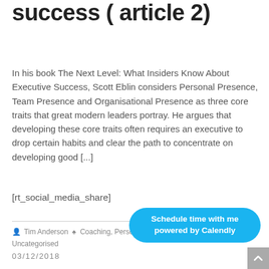Key to leadership success ( article 2)
In his book The Next Level: What Insiders Know About Executive Success, Scott Eblin considers Personal Presence, Team Presence and Organisational Presence as three core traits that great modern leaders portray. He argues that developing these core traits often requires an executive to drop certain habits and clear the path to concentrate on developing good [...]
[rt_social_media_share]
Tim Anderson  Coaching, Personal Development, Training, Uncategorised
03/12/2018